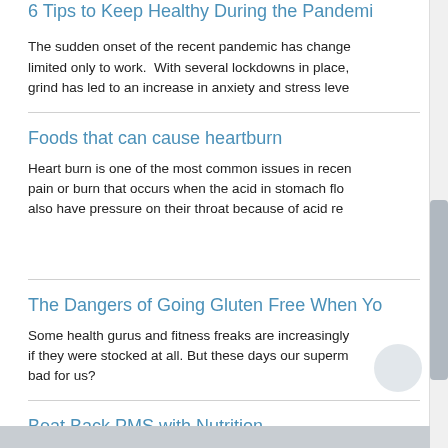6 Tips to Keep Healthy During the Pandemic
The sudden onset of the recent pandemic has changed our lives limited only to work. With several lockdowns in place, grind has led to an increase in anxiety and stress levels.
Foods that can cause heartburn
Heart burn is one of the most common issues in recent times, pain or burn that occurs when the acid in stomach flows, also have pressure on their throat because of acid re...
The Dangers of Going Gluten Free When You...
Some health gurus and fitness freaks are increasingly if they were stocked at all. But these days our superm bad for us?
Beat Back PMS with Nutrition
PMS or Premenstrual Syndrome usually happens with...